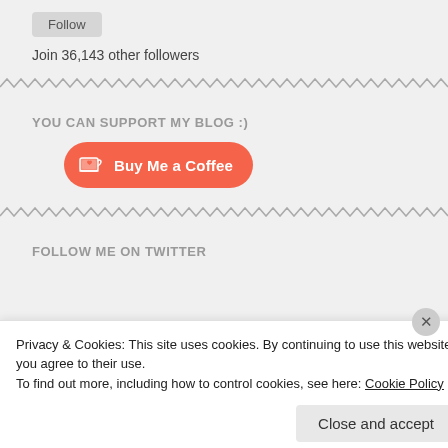Follow
Join 36,143 other followers
YOU CAN SUPPORT MY BLOG :)
[Figure (illustration): Red rounded button with coffee cup icon and text 'Buy Me a Coffee']
FOLLOW ME ON TWITTER
Privacy & Cookies: This site uses cookies. By continuing to use this website, you agree to their use.
To find out more, including how to control cookies, see here: Cookie Policy
Close and accept